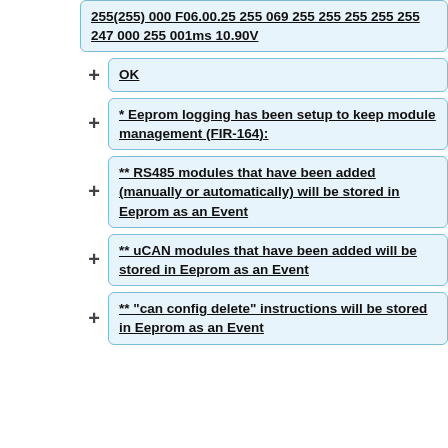255(255)  000  F06.00.25 255  069  255  255  255  255  255  247  000 255 001ms 10.90V
OK
* Eeprom logging has been setup to keep module management (FIR-164):
** RS485 modules that have been added (manually or automatically) will be stored in Eeprom as an Event
** uCAN modules that have been added will be stored in Eeprom as an Event
** "can config delete" instructions will be stored in Eeprom as an Event